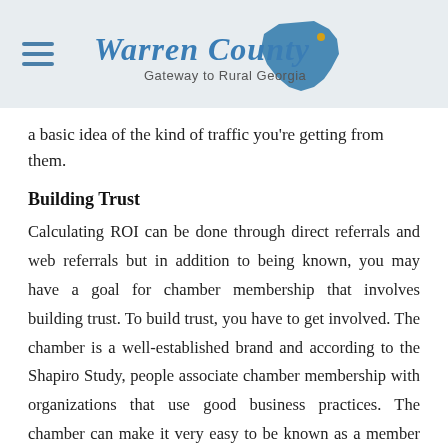Warren County — Gateway to Rural Georgia
a basic idea of the kind of traffic you're getting from them.
Building Trust
Calculating ROI can be done through direct referrals and web referrals but in addition to being known, you may have a goal for chamber membership that involves building trust. To build trust, you have to get involved. The chamber is a well-established brand and according to the Shapiro Study, people associate chamber membership with organizations that use good business practices. The chamber can make it very easy to be known as a member through plaques or window clings for your business, being listed in the chamber directory, or even being featured in their newsletter, but your ability to attend the...